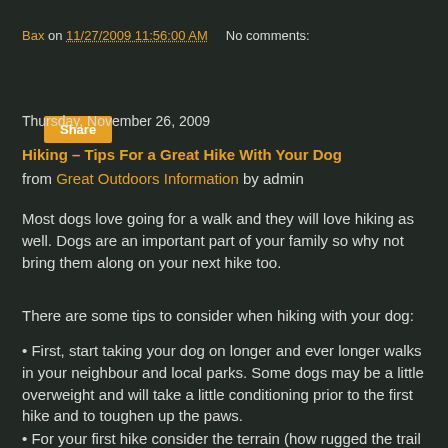Bax on 11/27/2009 11:56:00 AM    No comments:
Share
Thursday, November 26, 2009
Hiking – Tips For a Great Hike With Your Dog
from Great Outdoors Information by admin
Most dogs love going for a walk and they will love hiking as well. Dogs are an important part of your family so why not bring them along on your next hike too.
There are some tips to consider when hiking with your dog:
• First, start taking your dog on longer and ever longer walks in your neighbour and local parks. Some dogs may be a little overweight and will take a little conditioning prior to the first hike and to toughen up the paws.
• For your first hike consider the terrain (how rugged the trail